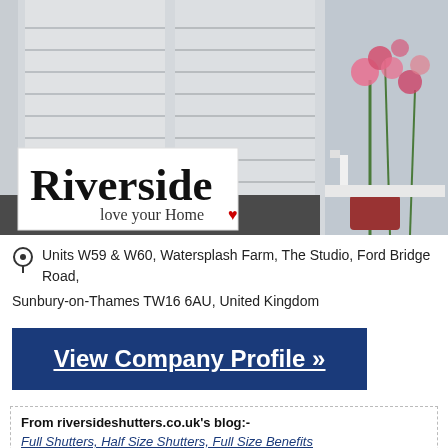[Figure (photo): Photo of white plantation shutters on windows with pink flowers and decorative items on the windowsill. Riverside logo overlaid at bottom left with tagline 'love your Home' and a red heart.]
Units W59 & W60, Watersplash Farm, The Studio, Ford Bridge Road, Sunbury-on-Thames TW16 6AU, United Kingdom
View Company Profile »
From riversideshutters.co.uk's blog:-
Full Shutters, Half Size Shutters, Full Size Benefits